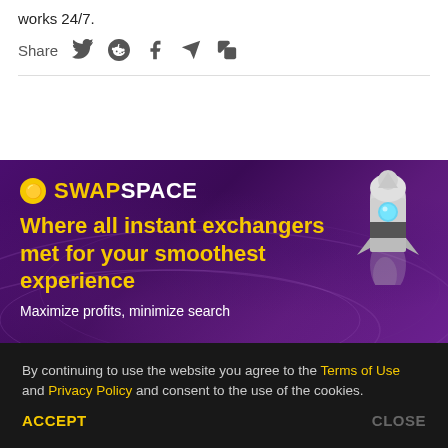works 24/7.
Share [social icons: Twitter, Reddit, Facebook, Telegram, Copy]
[Figure (infographic): SwapSpace advertisement banner with purple gradient background and rocket illustration. Text: SWAPSPACE – Where all instant exchangers met for your smoothest experience. Maximize profits, minimize search.]
By continuing to use the website you agree to the Terms of Use and Privacy Policy and consent to the use of the cookies.
ACCEPT   CLOSE